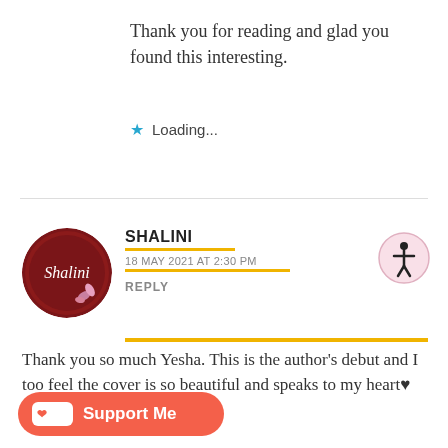Thank you for reading and glad you found this interesting.
★ Loading...
SHALINI
18 MAY 2021 AT 2:30 PM
REPLY
Thank you so much Yesha. This is the author's debut and I too feel the cover is so beautiful and speaks to my heart ♥
★ Loading...
[Figure (illustration): Shalini blog avatar: dark red circle with cursive 'Shalini' text and floral decoration]
[Figure (illustration): Accessibility icon: pink circle with stick figure person]
[Figure (illustration): Support Me button: salmon/coral rounded button with coffee cup and heart icon]